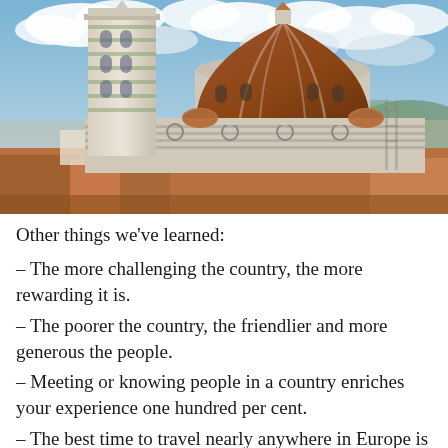[Figure (photo): Aerial view of the Florence Cathedral (Duomo di Firenze) showing Brunelleschi's dome and Giotto's Campanile bell tower against a cloudy blue sky, with surrounding terracotta rooftops visible.]
Other things we've learned:
– The more challenging the country, the more rewarding it is.
– The poorer the country, the friendlier and more generous the people.
– Meeting or knowing people in a country enriches your experience one hundred per cent.
– The best time to travel nearly anywhere in Europe is the